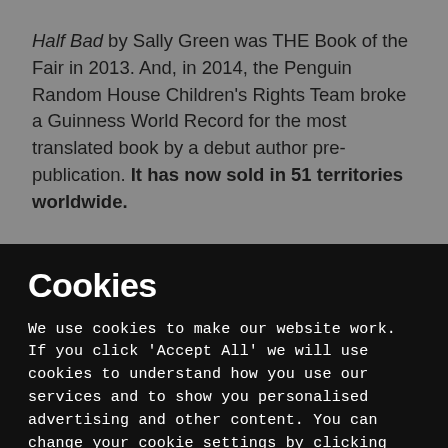Half Bad by Sally Green was THE Book of the Fair in 2013. And, in 2014, the Penguin Random House Children's Rights Team broke a Guinness World Record for the most translated book by a debut author pre-publication. It has now sold in 51 territories worldwide.
Cookies
We use cookies to make our website work. If you click 'Accept All' we will use cookies to understand how you use our services and to show you personalised advertising and other content. You can change your cookie settings by clicking 'Manage Cookies'. For more information please see our cookie policy
MANAGE COOKIE SETTINGS
ACCEPT ALL COOKIES